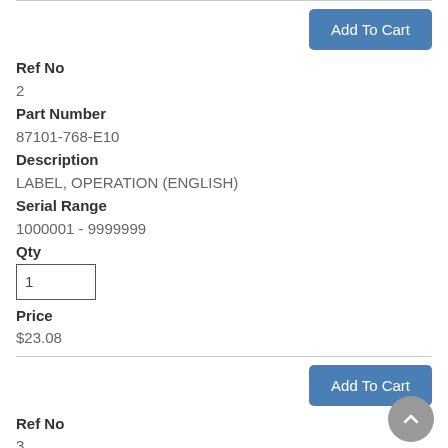Add To Cart
Ref No
2
Part Number
87101-768-E10
Description
LABEL, OPERATION (ENGLISH)
Serial Range
1000001 - 9999999
Qty
Price
$23.08
Add To Cart
Ref No
3
Part Number